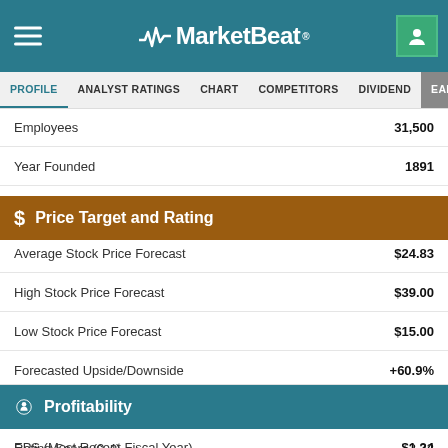MarketBeat
PROFILE | ANALYST RATINGS | CHART | COMPETITORS | DIVIDEND | EARNINGS
|  |  |
| --- | --- |
| Employees | 31,500 |
| Year Founded | 1891 |
$ Price Target and Rating
|  |  |
| --- | --- |
| Average Stock Price Forecast | $24.83 |
| High Stock Price Forecast | $39.00 |
| Low Stock Price Forecast | $15.00 |
| Forecasted Upside/Downside | +60.9% |
| Consensus Rating | Hold |
| Rating Score (0-4) | 2.33 |
| Research Coverage | 6 Analysts |
Profitability
|  |  |
| --- | --- |
| EPS (Most Recent Fiscal Year) | $1.24 |